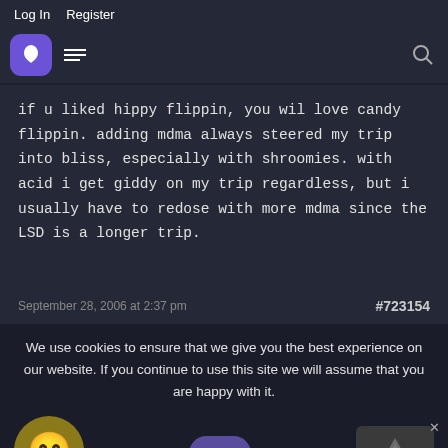Log In   Register
if u liked hippy flippin, you wil love candy flippin. adding mdma always steered my trip into bliss, especially with shroomies. with acid i get giddy on my trip regardless, but i usually have to redose with more mdma since the LSD is a longer trip.
September 28, 2006 at 2:37 pm   #723154
We use cookies to ensure that we give you the best experience on our website. If you continue to use this site we will assume that you are happy with it.
Yes
Enjoi